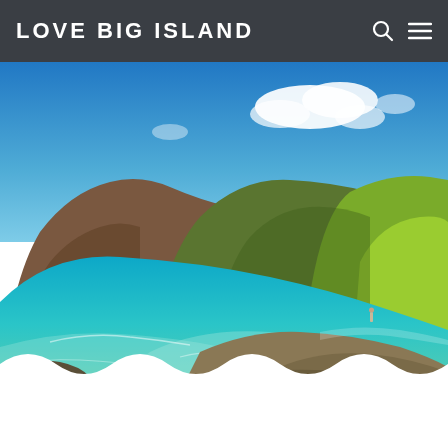LOVE BIG ISLAND
[Figure (photo): Scenic coastal photo of a rocky pebble beach with vivid turquoise water, a steep green hillside in the background, and a bright blue sky with white clouds. A lone figure stands near the water's edge on the right side.]